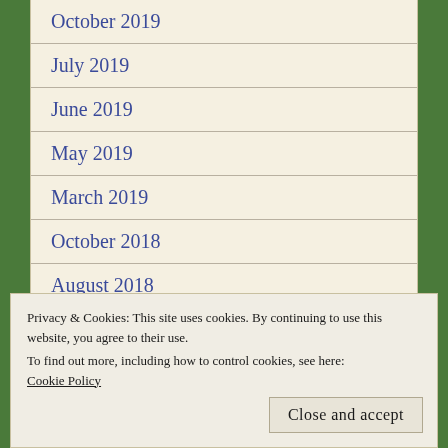October 2019
July 2019
June 2019
May 2019
March 2019
October 2018
August 2018
July 2018
June 2018
Privacy & Cookies: This site uses cookies. By continuing to use this website, you agree to their use.
To find out more, including how to control cookies, see here:
Cookie Policy
September 2017